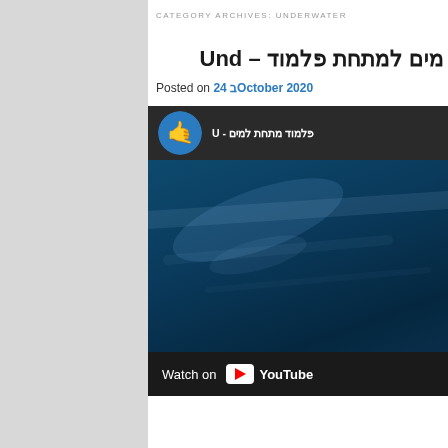CATEGORY ARCHIVES: UNDERWATER
פלמוד מתחת למים – Und
Posted on 24 בOctober 2020
[Figure (screenshot): Embedded YouTube video thumbnail showing underwater scene with blue tones. Video header shows channel icon (hand gesture logo) and Hebrew title 'פלמוד מתחת למים - U'. Bottom bar shows 'Watch on YouTube' button.]